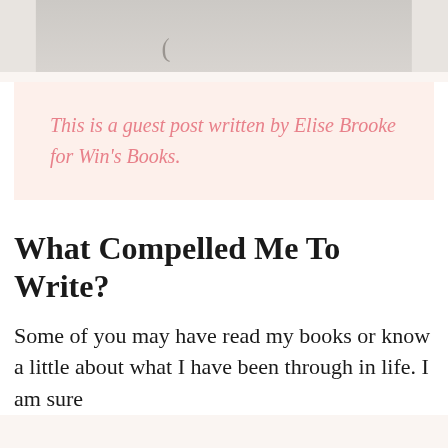[Figure (photo): Top portion of a photo showing pencils or pens on a light background, partially cropped]
This is a guest post written by Elise Brooke for Win's Books.
What Compelled Me To Write?
Some of you may have read my books or know a little about what I have been through in life. I am sure